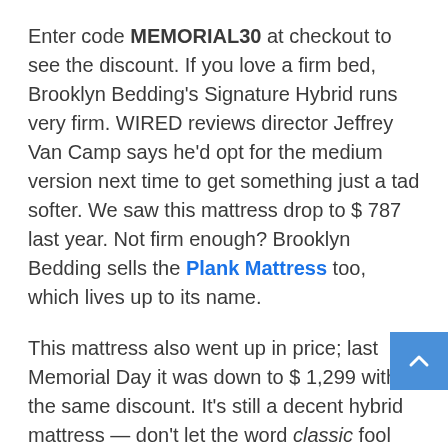Enter code MEMORIAL30 at checkout to see the discount. If you love a firm bed, Brooklyn Bedding's Signature Hybrid runs very firm. WIRED reviews director Jeffrey Van Camp says he'd opt for the medium version next time to get something just a tad softer. We saw this mattress drop to $ 787 last year. Not firm enough? Brooklyn Bedding sells the Plank Mattress too, which lives up to its name.
This mattress also went up in price; last Memorial Day it was down to $ 1,299 with the same discount. It's still a decent hybrid mattress — don't let the word classic fool you. There are three firmness levels and two thickness options. You also get white glove delivery, and the brand will haul away your old mattress. That's a luxury.
This deal comes with two pillows, a sheet set, and a mattress cover. DreamCloud's Hybrid has a thick,